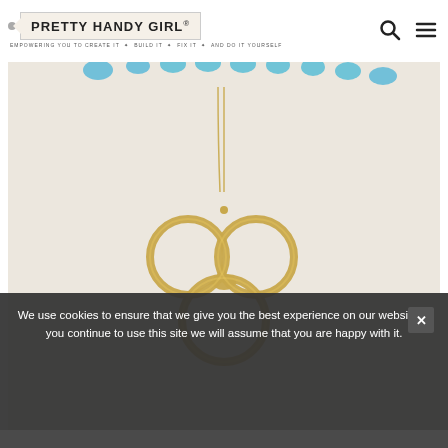PRETTY HANDY GIRL® — EMPOWERING YOU TO CREATE IT ✦ BUILD IT ✦ FIX IT ✦ AND DO IT YOURSELF
[Figure (photo): Close-up photo of gold scissor-style jewelry pendant with three circular rings on a chain, displayed against a white fabric background with blue beaded necklace visible at top]
We use cookies to ensure that we give you the best experience on our website. If you continue to use this site we will assume that you are happy with it.